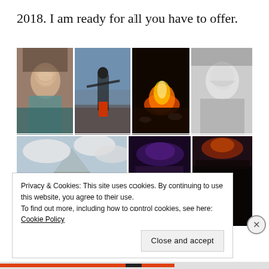2018. I am ready for all you have to offer.
[Figure (photo): Collage of 7 personal photos arranged in two rows: selfie of smiling woman, person on rocky beach with arms outstretched, campfire at night, black-and-white portrait of smiling woman, landscape with mountain and clouds, concert crowd scene, group of smiling friends at concert]
Privacy & Cookies: This site uses cookies. By continuing to use this website, you agree to their use.
To find out more, including how to control cookies, see here: Cookie Policy
Close and accept